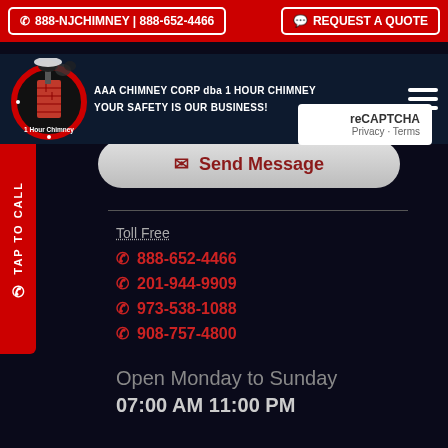☎ 888-NJCHIMNEY | 888-652-4466
REQUEST A QUOTE
AAA CHIMNEY CORP dba 1 HOUR CHIMNEY YOUR SAFETY IS OUR BUSINESS!
[Figure (logo): 1 Hour Chimney circular logo with chimney and brush]
reCAPTCHA Privacy · Terms
Send Message
TAP TO CALL
Toll Free
888-652-4466
201-944-9909
973-538-1088
908-757-4800
Open Monday to Sunday
07:00 AM 11:00 PM